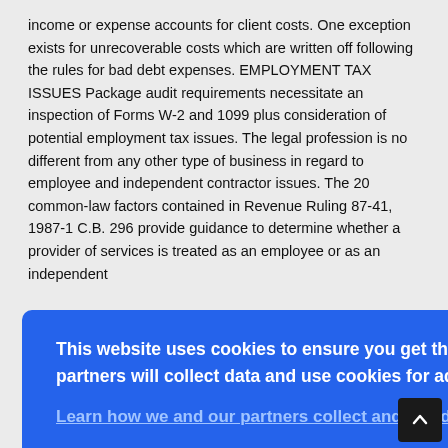income or expense accounts for client costs. One exception exists for unrecoverable costs which are written off following the rules for bad debt expenses. EMPLOYMENT TAX ISSUES Package audit requirements necessitate an inspection of Forms W-2 and 1099 plus consideration of potential employment tax issues. The legal profession is no different from any other type of business in regard to employee and independent contractor issues. The 20 common-law factors contained in Revenue Ruling 87-41, 1987-1 C.B. 296 provide guidance to determine whether a provider of services is treated as an employee or as an independent
[Figure (other): Cookie consent banner overlay with blue background. Text reads: 'This website uses cookies to ensure you get the best experience on our website. Our partners will collect data and use cookies for ad personalization and measurement.' With a link 'Learn how we and our partners collect and use data.' and an OK button.]
for part-time work). Paralegals and clerks under an attorney's close